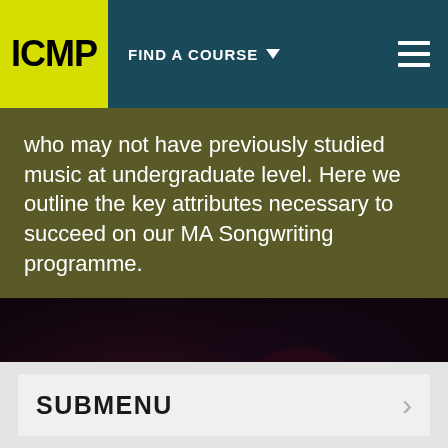ICMP | FIND A COURSE
who may not have previously studied music at undergraduate level. Here we outline the key attributes necessary to succeed on our MA Songwriting programme.
[Figure (photo): Blurred close-up photo of a person playing a guitar or musical instrument under red/pink stage lighting]
SUBMENU